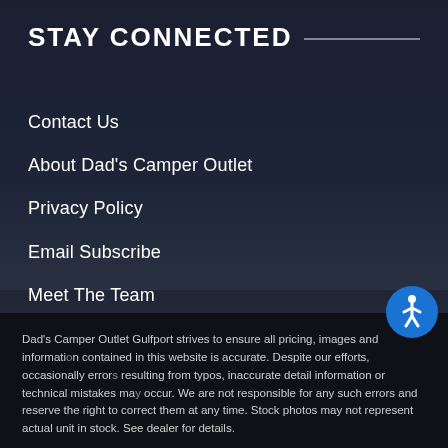STAY CONNECTED
Contact Us
About Dad's Camper Outlet
Privacy Policy
Email Subscribe
Meet The Team
Terms of Use
[Figure (photo): Dark background photo of an RV/camper trailer parked outdoors, with dark overlay]
Dad's Camper Outlet Gulfport strives to ensure all pricing, images and information contained in this website is accurate. Despite our efforts, occasionally errors resulting from typos, inaccurate detail information or technical mistakes may occur. We are not responsible for any such errors and reserve the right to correct them at any time. Stock photos may not represent actual unit in stock. See dealer for details.